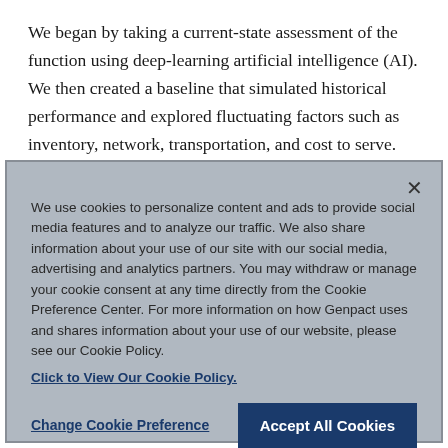We began by taking a current-state assessment of the function using deep-learning artificial intelligence (AI). We then created a baseline that simulated historical performance and explored fluctuating factors such as inventory, network, transportation, and cost to serve. Applying that information:
We use cookies to personalize content and ads to provide social media features and to analyze our traffic. We also share information about your use of our site with our social media, advertising and analytics partners. You may withdraw or manage your cookie consent at any time directly from the Cookie Preference Center. For more information on how Genpact uses and shares information about your use of our website, please see our Cookie Policy.
Click to View Our Cookie Policy.
Change Cookie Preference
Accept All Cookies